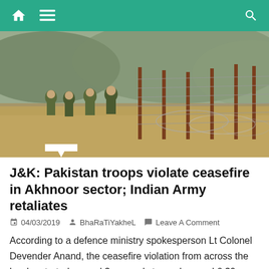Navigation bar with home, menu, and search icons
[Figure (photo): Indian Army soldiers in camouflage uniforms patrolling along a barbed wire border fence in a hilly terrain, likely along the Line of Control in Jammu & Kashmir.]
J&K: Pakistan troops violate ceasefire in Akhnoor sector; Indian Army retaliates
04/03/2019  BhaRaTiYakheL  Leave A Comment
According to a defence ministry spokesperson Lt Colonel Devender Anand, the ceasefire violation from across the border started around 3 am and stopped around 6.30 am. Shared